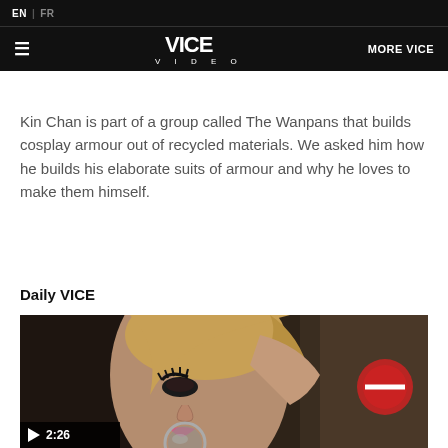EN | FR
VICE VIDEO | MORE VICE
Kin Chan is part of a group called The Wanpans that builds cosplay armour out of recycled materials. We asked him how he builds his elaborate suits of armour and why he loves to make them himself.
Daily VICE
[Figure (photo): Video thumbnail showing a person with glamorous makeup holding a round mirror, with a red road sign visible in the background. A play button and duration marker '2:26' are shown in the bottom-left overlay.]